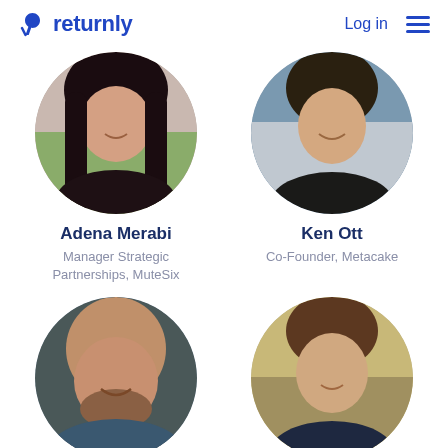returnly  Log in
[Figure (photo): Circular portrait photo of Adena Merabi, a woman with long dark hair, smiling]
Adena Merabi
Manager Strategic Partnerships, MuteSix
[Figure (photo): Circular portrait photo of Ken Ott, a young man smiling, wearing a dark shirt]
Ken Ott
Co-Founder, Metacake
[Figure (photo): Circular portrait photo of a bald man with a beard, smiling, wearing a dark blue shirt]
[Figure (photo): Circular portrait photo of a young man with brown hair, smiling slightly, outdoors with autumn foliage background]